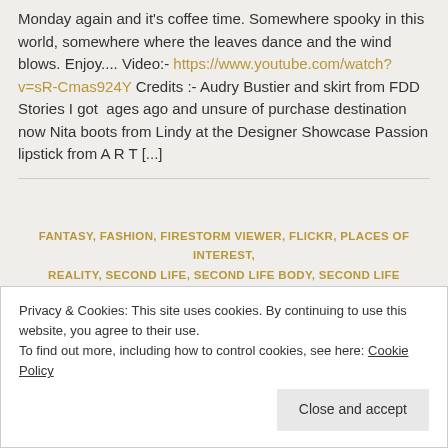Monday again and it's coffee time. Somewhere spooky in this world, somewhere where the leaves dance and the wind blows. Enjoy.... Video:- https://www.youtube.com/watch?v=sR-Cmas924Y Credits :- Audry Bustier and skirt from FDD Stories I got  ages ago and unsure of purchase destination now Nita boots from Lindy at the Designer Showcase Passion lipstick from A R T [...]
FANTASY, FASHION, FIRESTORM VIEWER, FLICKR, PLACES OF INTEREST, REALITY, SECOND LIFE, SECOND LIFE BODY, SECOND LIFE FASHION,
Privacy & Cookies: This site uses cookies. By continuing to use this website, you agree to their use. To find out more, including how to control cookies, see here: Cookie Policy
Close and accept